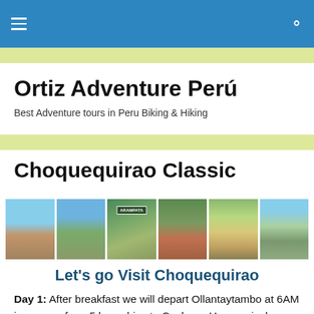Ortiz Adventure Perú – navigation bar
Ortiz Adventure Perú
Best Adventure tours in Peru Biking & Hiking
Choquequirao Classic
[Figure (photo): Strip of six landscape photos showing Peruvian Andean scenery and ruins, including mountain villages, valleys, the Arampata sign, Inca ruins, and blue-sky scenic views.]
Let's go Visit Choquequirao
Day 1: After breakfast we will depart Ollantaytambo at 6AM in our van for a 5 hour drive to Cachora. Upon arrival